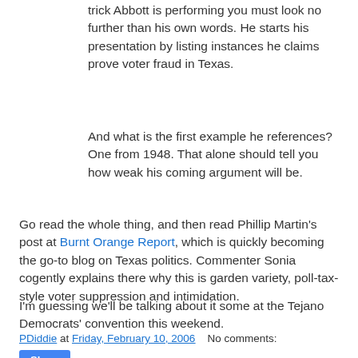trick Abbott is performing you must look no further than his own words. He starts his presentation by listing instances he claims prove voter fraud in Texas.
And what is the first example he references? One from 1948. That alone should tell you how weak his coming argument will be.
Go read the whole thing, and then read Phillip Martin's post at Burnt Orange Report, which is quickly becoming the go-to blog on Texas politics. Commenter Sonia cogently explains there why this is garden variety, poll-tax-style voter suppression and intimidation.
I'm guessing we'll be talking about it some at the Tejano Democrats' convention this weekend.
PDiddie at Friday, February 10, 2006   No comments:
Share